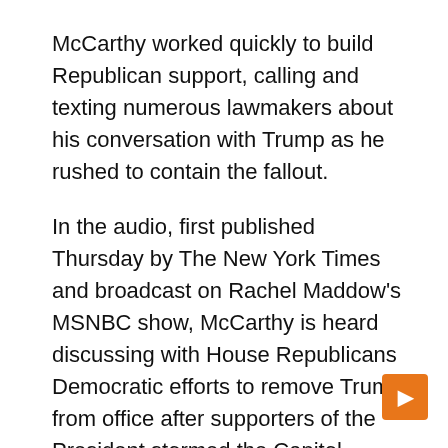McCarthy worked quickly to build Republican support, calling and texting numerous lawmakers about his conversation with Trump as he rushed to contain the fallout.
In the audio, first published Thursday by The New York Times and broadcast on Rachel Maddow's MSNBC show, McCarthy is heard discussing with House Republicans Democratic efforts to remove Trump from office after supporters of the President stormed the Capitol.
In the recording of a Jan. 10, 2021, discussion, McCarthy says he would say to Trump, “I think that will pass, and it would be my recommendation that you resign.”